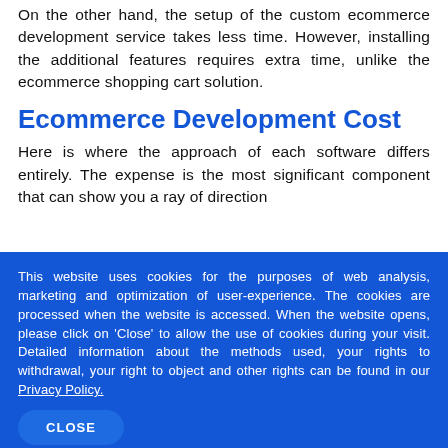On the other hand, the setup of the custom ecommerce development service takes less time. However, installing the additional features requires extra time, unlike the ecommerce shopping cart solution.
Ecommerce Development Cost
Here is where the approach of each software differs entirely. The expense is the most significant component that can show you a ray of direction
This website uses cookies for the purposes of web analysis, marketing and optimization of user-experience. The cookies are processed when the website is accessed. When the website opens, please click on 'Close' to allow the use of cookies during your visit. Detailed information about the methods used, your rights to withdrawal, your right to object and other rights can be found in our Privacy Policy.